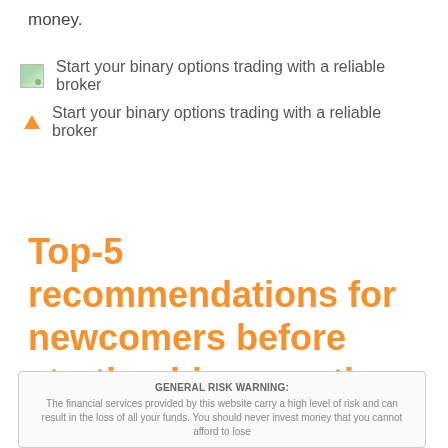money.
Start your binary options trading with a reliable broker
Start your binary options trading with a reliable broker
Top-5 recommendations for newcomers before starting binary option trade
GENERAL RISK WARNING: The financial services provided by this website carry a high level of risk and can result in the loss of all your funds. You should never invest money that you cannot afford to lose